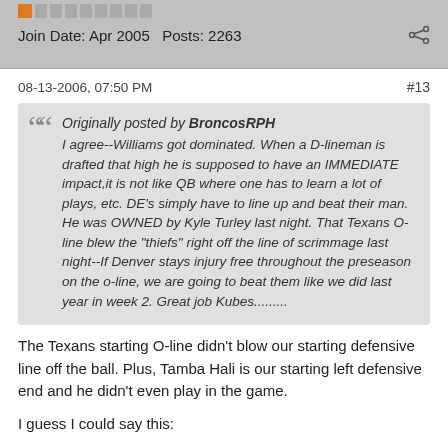Join Date: Apr 2005    Posts: 2263
08-13-2006, 07:50 PM    #13
Originally posted by BroncosRPH
I agree--Williams got dominated. When a D-lineman is drafted that high he is supposed to have an IMMEDIATE impact,it is not like QB where one has to learn a lot of plays, etc. DE's simply have to line up and beat their man. He was OWNED by Kyle Turley last night. That Texans O-line blew the "thiefs" right off the line of scrimmage last night--If Denver stays injury free throughout the preseason on the o-line, we are going to beat them like we did last year in week 2. Great job Kubes.........
The Texans starting O-line didn't blow our starting defensive line off the ball. Plus, Tamba Hali is our starting left defensive end and he didn't even play in the game.
I guess I could say this:
Did you see Kevin Jones run over the Denver defense? If KC stays injury free Larry Johnson is going to have 200+ yards each game.
It's the freaking preseason. Denver didn't look so hot themselves. I